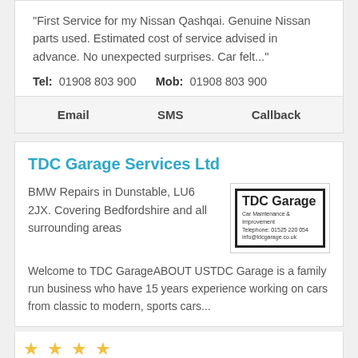"First Service for my Nissan Qashqai. Genuine Nissan parts used. Estimated cost of service advised in advance. No unexpected surprises. Car felt..."
Tel: 01908 803 900   Mob: 01908 803 900
Email   SMS   Callback
TDC Garage Services Ltd
BMW Repairs in Dunstable, LU6 2JX. Covering Bedfordshire and all surrounding areas
[Figure (logo): TDC Garage logo with bold border, showing 'TDC Garage', 'Car Maintenance & Improvement', 'Telephone: 01525 220 054', 'info@tdcgarage.co.uk']
Welcome to TDC GarageABOUT USTDC Garage is a family run business who have 15 years experience working on cars from classic to modern, sports cars...